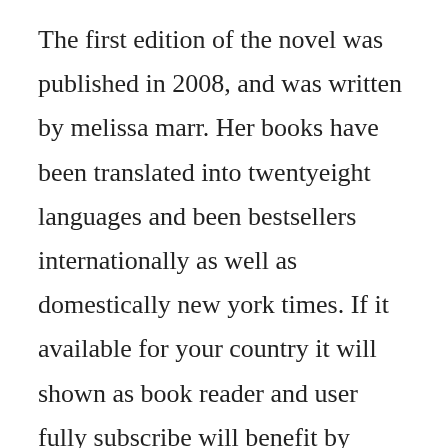The first edition of the novel was published in 2008, and was written by melissa marr. Her books have been translated into twentyeight languages and been bestsellers internationally as well as domestically new york times. If it available for your country it will shown as book reader and user fully subscribe will benefit by having full. Marr, with kelley armstrong spring 20 odins ravens, as m. After centuries of stability, the balance among the faery courts has altered, and irial, ruler of the dark court, is. Mortal affections and faery